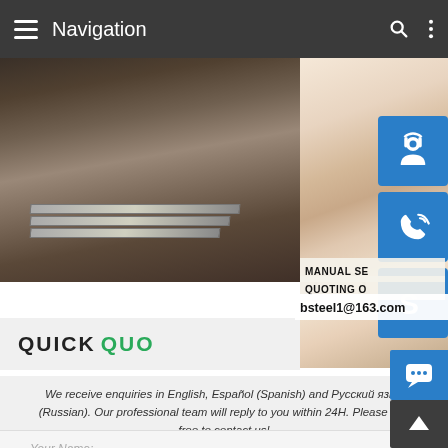Navigation
[Figure (photo): Steel plates stacked on the left; female customer service agent with headset on the right]
MANUAL SE...
QUOTING O...
bsteel1@163.com
QUICK QUO...
We receive enquiries in English, Español (Spanish) and Русский язык (Russian). Our professional team will reply to you within 24H. Please feel free to contact us!
Your Name: